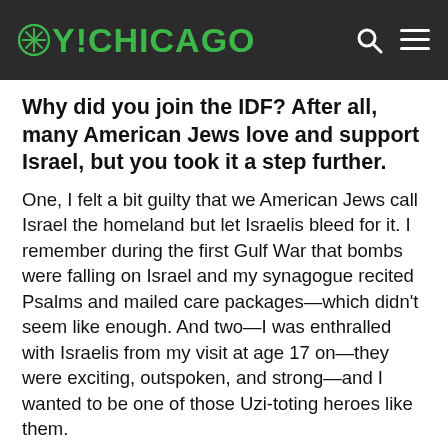OY!CHICAGO
Why did you join the IDF? After all, many American Jews love and support Israel, but you took it a step further.
One, I felt a bit guilty that we American Jews call Israel the homeland but let Israelis bleed for it. I remember during the first Gulf War that bombs were falling on Israel and my synagogue recited Psalms and mailed care packages—which didn't seem like enough. And two—I was enthralled with Israelis from my visit at age 17 on—they were exciting, outspoken, and strong—and I wanted to be one of those Uzi-toting heroes like them.
What is the most important lesson you learned while